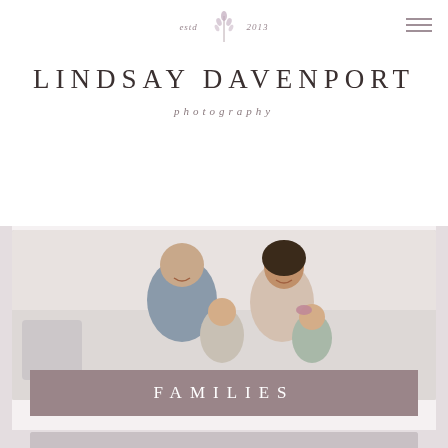[Figure (logo): Lindsay Davenport Photography logo with lavender sprig, 'estd 2013', studio name in spaced caps, and 'photography' in italic]
LINDSAY DAVENPORT
photography
[Figure (photo): A happy family of four sitting together — father and mother laughing, holding a toddler boy and baby girl with a pink bow headband, light bright studio setting]
FAMILIES